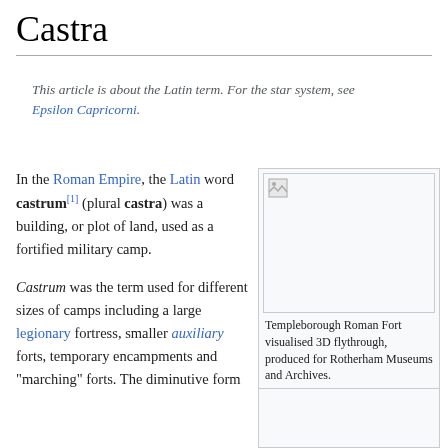Castra
This article is about the Latin term. For the star system, see Epsilon Capricorni.
In the Roman Empire, the Latin word castrum[1] (plural castra) was a building, or plot of land, used as a fortified military camp.
[Figure (photo): Image placeholder for Templeborough Roman Fort visualised 3D flythrough]
Templeborough Roman Fort visualised 3D flythrough, produced for Rotherham Museums and Archives.
Castrum was the term used for different sizes of camps including a large legionary fortress, smaller auxiliary forts, temporary encampments and "marching" forts. The diminutive form
[Figure (photo): Second image placeholder]